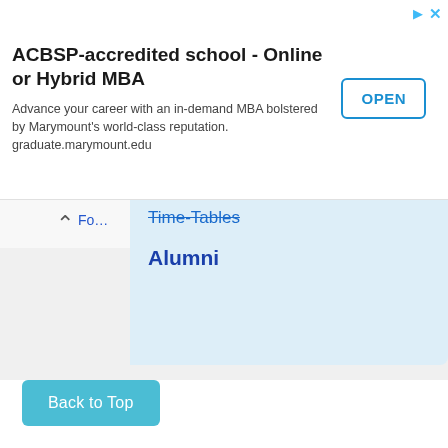ACBSP-accredited school - Online or Hybrid MBA
Advance your career with an in-demand MBA bolstered by Marymount’s world-class reputation. graduate.marymount.edu
Time-Tables
Alumni
Back to Top